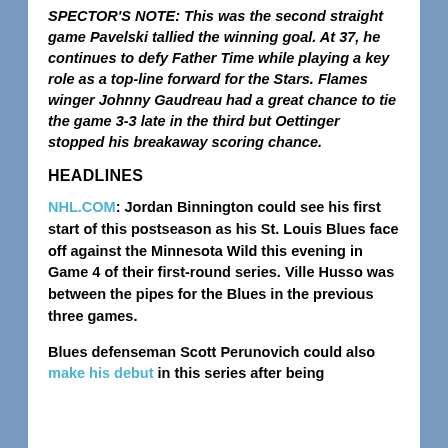SPECTOR'S NOTE: This was the second straight game Pavelski tallied the winning goal. At 37, he continues to defy Father Time while playing a key role as a top-line forward for the Stars. Flames winger Johnny Gaudreau had a great chance to tie the game 3-3 late in the third but Oettinger stopped his breakaway scoring chance.
HEADLINES
NHL.COM: Jordan Binnington could see his first start of this postseason as his St. Louis Blues face off against the Minnesota Wild this evening in Game 4 of their first-round series. Ville Husso was between the pipes for the Blues in the previous three games.
Blues defenseman Scott Perunovich could also make his debut in this series after being